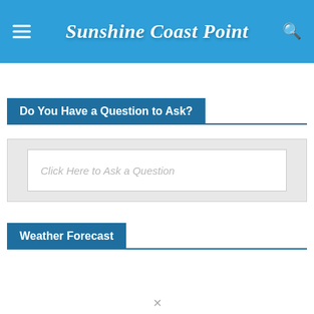Sunshine Coast Point
Do You Have a Question to Ask?
Click Here to Ask a Question
Weather Forecast